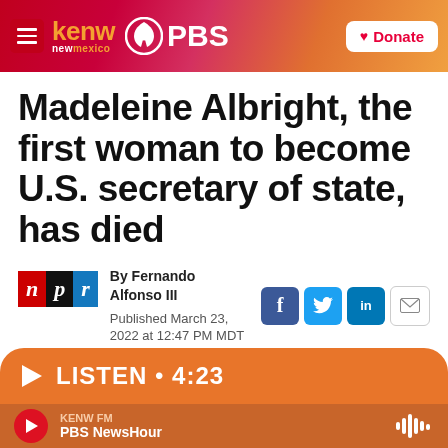kenw new mexico PBS — Donate
Madeleine Albright, the first woman to become U.S. secretary of state, has died
By Fernando Alfonso III
Published March 23, 2022 at 12:47 PM MDT
LISTEN • 4:23
KENW FM
PBS NewsHour